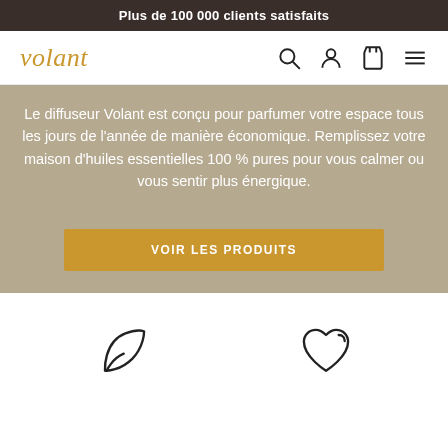Plus de 100 000 clients satisfaits
volant
Le diffuseur Volant est conçu pour parfumer votre espace tous les jours de l'année de manière économique. Remplissez votre maison d'huiles essentielles 100 % pures pour vous calmer ou vous sentir plus énergique.
VOIR LES PRODUITS
[Figure (illustration): Leaf icon outline]
[Figure (illustration): Heart icon outline]